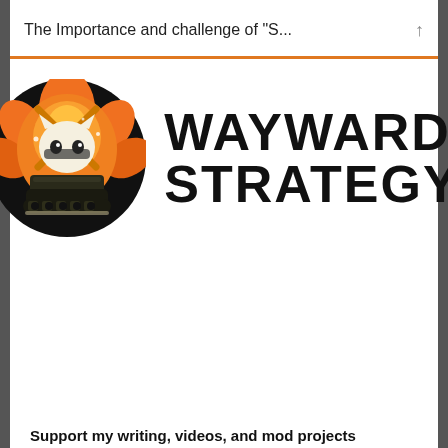The Importance and challenge of "S...
[Figure (logo): Wayward Strategy logo: a circular badge with a black background showing a white cat face above a military tank, surrounded by orange flame-like shapes, next to bold black text reading WAYWARD STRATEGY]
Support my writing, videos, and mod projects